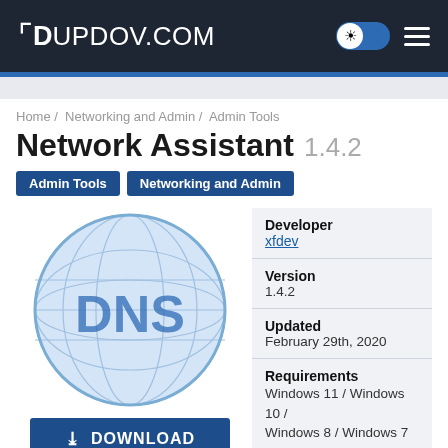DUPDOV.COM
Home / Networking and Admin / Admin Tools
Network Assistant 1.4.2
Admin Tools
Networking and Admin
[Figure (logo): DNS globe icon — a light blue globe with a grid of latitude/longitude lines and the letters DNS in blue in the center]
| Field | Value |
| --- | --- |
| Developer | xfdev |
| Version | 1.4.2 |
| Updated | February 29th, 2020 |
| Requirements | Windows 11 / Windows 10 / Windows 8 / Windows 7 |
DOWNLOAD